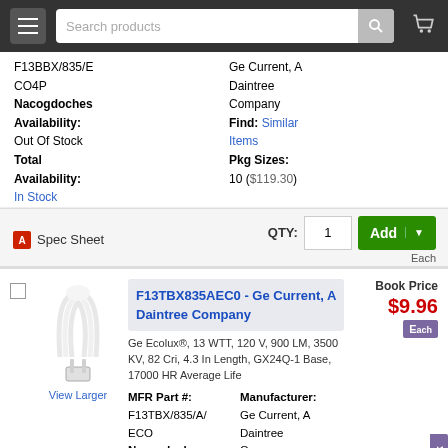Search products navigation bar
F13BBX/835/E CO4P
Nacogdoches Availability: Out Of Stock
Ge Current, A Daintree Company
Find: Similar Items
Total Availability: In Stock
Pkg Sizes: 10 ($119.30)
Spec Sheet  QTY: 1  Add  Each
F13TBX835AEC0 - Ge Current, A Daintree Company
Ge Ecolux®, 13 WTT, 120 V, 900 LM, 3500 KV, 82 Cri, 4.3 In Length, GX24Q-1 Base, 17000 HR Average Life
MFR Part #: F13TBX/835/A/ECO
Nacogdoches Availability: Out Of Stock
Manufacturer: Ge Current, A Daintree Company
Find: Similar Items
Total
Pkg Sizes:
Book Price
$9.96
Each